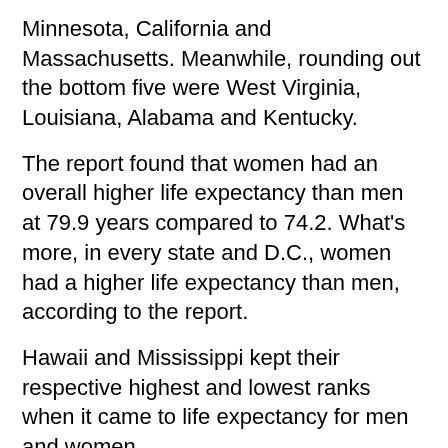Minnesota, California and Massachusetts. Meanwhile, rounding out the bottom five were West Virginia, Louisiana, Alabama and Kentucky.
The report found that women had an overall higher life expectancy than men at 79.9 years compared to 74.2. What's more, in every state and D.C., women had a higher life expectancy than men, according to the report.
Hawaii and Mississippi kept their respective highest and lowest ranks when it came to life expectancy for men and women.
In Hawaii, men had a life expectancy of 77.6 years in 2020 and women had a life expectancy of 83.8 years. In Mississippi, men had a life expectancy of 68.6 years in comparison with the life expectancy of women at 75.2 years.
The report also looked at life expectancy after adults reached age 65, when they are considered senior